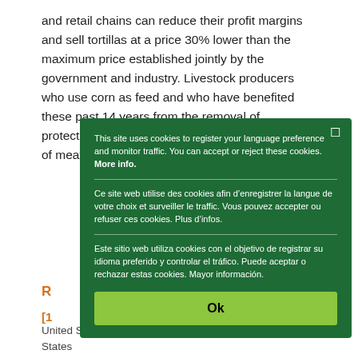and retail chains can reduce their profit margins and sell tortillas at a price 30% lower than the maximum price established jointly by the government and industry. Livestock producers who use corn as feed and who have benefited these past 14 years from the removal of protections to farmers, intend to raise the prices of meat, milk, eggs and chic[ken]... cos[t]...
Dur[ing]... con[tinued]... mo[re]... con[text]... NAF[TA]... if it...
[Figure (screenshot): Cookie consent popup overlay on a green background. Trilingual (English, French, Spanish) cookie notice with an Ok button. English: 'This site uses cookies to register your language preference and monitor traffic. You can accept or reject these cookies. More info.' French: 'Ce site web utilise des cookies afin d’enregistrer la langue de votre choix et surveiller le traffic. Vous pouvez accepter ou refuser ces cookies. Plus d’infos.' Spanish: 'Este sitio web utiliza cookies con el objetivo de registrar su idioma preferido y controlar el tráfico. Puede aceptar o rechazar estas cookies. Mayor información.' Green Ok button at bottom.]
R[eferences]
[1]
United States and Canada. (2) Mexico and the United States